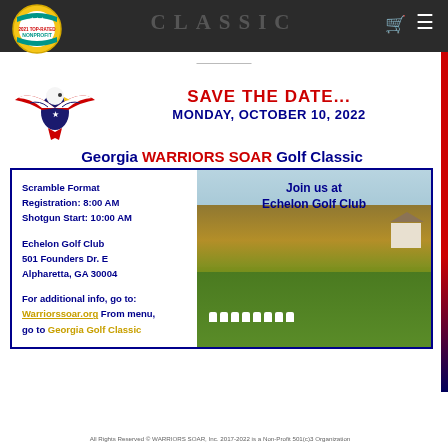CLASSIC
[Figure (logo): Warriors Soar 2021 Top-Rated Nonprofit badge/seal, circular gold and teal design]
SAVE THE DATE... MONDAY, OCTOBER 10, 2022
Georgia WARRIORS SOAR Golf Classic
Scramble Format
Registration: 8:00 AM
Shotgun Start: 10:00 AM

Echelon Golf Club
501 Founders Dr. E
Alpharetta, GA 30004

For additional info, go to:
Warriorssoar.org From menu, go to Georgia Golf Classic
[Figure (photo): Echelon Golf Club scenic view with white Adirondack chairs arranged on green grass lawn, autumn trees and house in background. Overlay text: Join us at Echelon Golf Club]
All Rights Reserved © WARRIORS SOAR, Inc. 2017-2022 is a Non-Profit 501(c)3 Organization